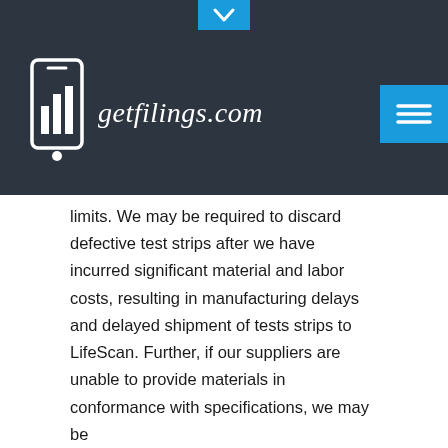getfilings.com
limits. We may be required to discard defective test strips after we have incurred significant material and labor costs, resulting in manufacturing delays and delayed shipment of tests strips to LifeScan. Further, if our suppliers are unable to provide materials in conformance with specifications, we may be
15
required to discard materials, which may also cause delays in the manufacture and shipment of tests strips to LifeScan.
Manufacture of allegedly defective test strips exposes us to the